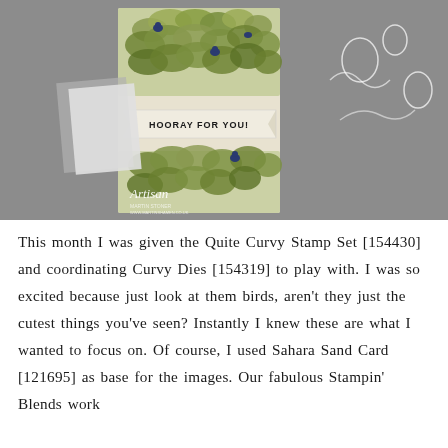[Figure (photo): A photograph showing a handmade greeting card with leafy/bird design saying HOORAY FOR YOU! in a banner, displayed on a gray surface alongside crafting dies and a stamp set box labeled QUITE CURVY. An Artisan watermark and Martin Stoner branding are visible on the card photo.]
This month I was given the Quite Curvy Stamp Set [154430] and coordinating Curvy Dies [154319] to play with. I was so excited because just look at them birds, aren't they just the cutest things you've seen? Instantly I knew these are what I wanted to focus on. Of course, I used Sahara Sand Card [121695] as base for the images. Our fabulous Stampin' Blends work